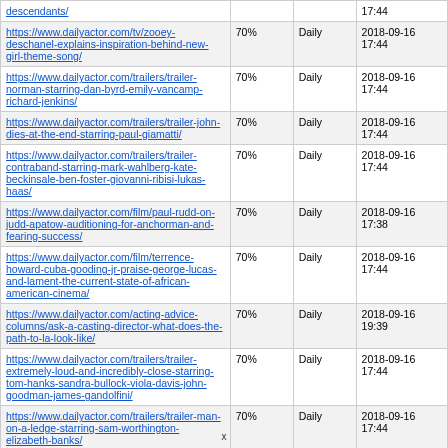| URL | Priority | Change Frequency | Last Modified |
| --- | --- | --- | --- |
| https://www.dailyactor.com/tv/zooey-deschanel-explains-inspiration-behind-new-girl-theme-song/ | 70% | Daily | 2018-09-16 17:44 |
| https://www.dailyactor.com/trailers/trailer-norman-starring-dan-byrd-emily-vancamp-richard-jenkins/ | 70% | Daily | 2018-09-16 17:44 |
| https://www.dailyactor.com/trailers/trailer-john-dies-at-the-end-starring-paul-giamatti/ | 70% | Daily | 2018-09-16 17:44 |
| https://www.dailyactor.com/trailers/trailer-contraband-starring-mark-wahlberg-kate-beckinsale-ben-foster-giovanni-ribisi-lukas-haas/ | 70% | Daily | 2018-09-16 17:44 |
| https://www.dailyactor.com/film/paul-rudd-on-judd-apatow-auditioning-for-anchorman-and-fearing-success/ | 70% | Daily | 2018-09-16 17:38 |
| https://www.dailyactor.com/film/terrence-howard-cuba-gooding-jr-praise-george-lucas-and-lament-the-current-state-of-african-american-cinema/ | 70% | Daily | 2018-09-16 17:44 |
| https://www.dailyactor.com/acting-advice-columns/ask-a-casting-director-what-does-the-path-to-la-look-like/ | 70% | Daily | 2018-09-16 19:39 |
| https://www.dailyactor.com/trailers/trailer-extremely-loud-and-incredibly-close-starring-tom-hanks-sandra-bullock-viola-davis-john-goodman-james-gandolfini/ | 70% | Daily | 2018-09-16 17:44 |
| https://www.dailyactor.com/trailers/trailer-man-on-a-ledge-starring-sam-worthington-elizabeth-banks/ | 70% | Daily | 2018-09-16 17:44 |
| https://www.dailyactor.com/actors-on-acting/alfred- |  |  | 2018-11-1… |
x